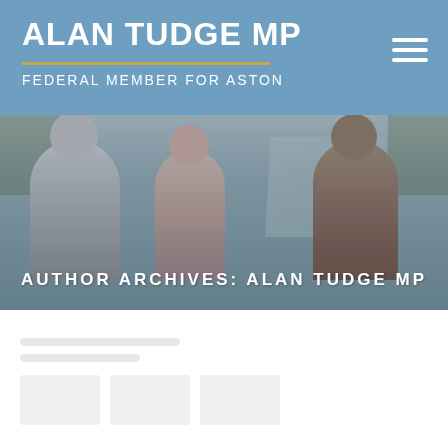ALAN TUDGE MP
FEDERAL MEMBER FOR ASTON
[Figure (photo): Photo of Alan Tudge MP speaking with two people outdoors near a road/bridge, with trees in background]
AUTHOR ARCHIVES: ALAN TUDGE MP